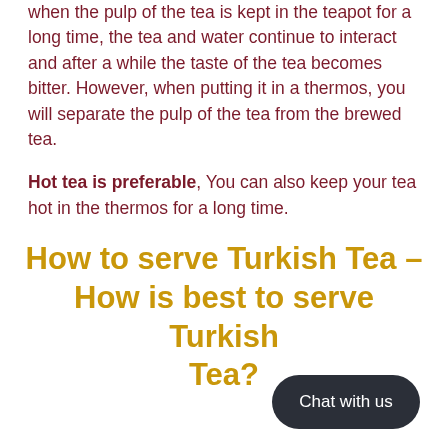when the pulp of the tea is kept in the teapot for a long time, the tea and water continue to interact and after a while the taste of the tea becomes bitter. However, when putting it in a thermos, you will separate the pulp of the tea from the brewed tea.
Hot tea is preferable, You can also keep your tea hot in the thermos for a long time.
How to serve Turkish Tea - How is best to serve Turkish Tea?